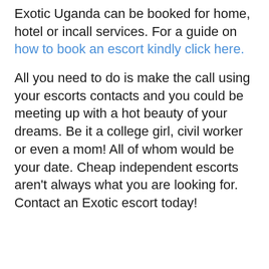Exotic Uganda can be booked for home, hotel or incall services. For a guide on how to book an escort kindly click here.
All you need to do is make the call using your escorts contacts and you could be meeting up with a hot beauty of your dreams. Be it a college girl, civil worker or even a mom! All of whom would be your date. Cheap independent escorts aren't always what you are looking for. Contact an Exotic escort today!